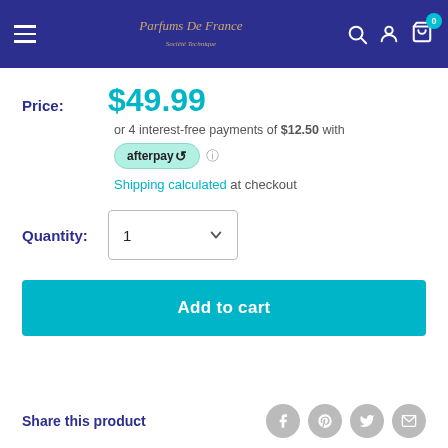Parfums De France — navigation header
Price: $49.99
or 4 interest-free payments of $12.50 with afterpay
Shipping calculated at checkout
Quantity: 1
Add to cart
Share this product